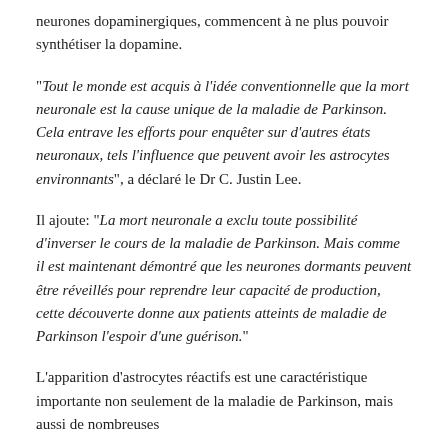neurones dopaminergiques, commencent à ne plus pouvoir synthétiser la dopamine.
"Tout le monde est acquis à l'idée conventionnelle que la mort neuronale est la cause unique de la maladie de Parkinson. Cela entrave les efforts pour enquêter sur d'autres états neuronaux, tels l'influence que peuvent avoir les astrocytes environnants", a déclaré le Dr C. Justin Lee.
Il ajoute: "La mort neuronale a exclu toute possibilité d'inverser le cours de la maladie de Parkinson. Mais comme il est maintenant démontré que les neurones dormants peuvent être réveillés pour reprendre leur capacité de production, cette découverte donne aux patients atteints de maladie de Parkinson l'espoir d'une guérison."
L'apparition d'astrocytes réactifs est une caractéristique importante non seulement de la maladie de Parkinson, mais aussi de nombreuses